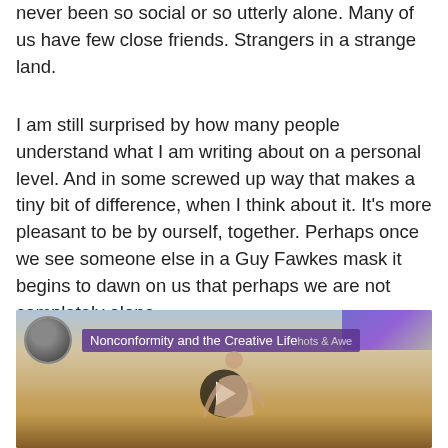never been so social or so utterly alone. Many of us have few close friends. Strangers in a strange land.
I am still surprised by how many people understand what I am writing about on a personal level. And in some screwed up way that makes a tiny bit of difference, when I think about it. It's more pleasant to be by ourself, together. Perhaps once we see someone else in a Guy Fawkes mask it begins to dawn on us that perhaps we are not completely alone.
[Figure (screenshot): Embedded video thumbnail titled 'Nonconformity and the Creative Life' with a play button overlay, showing a person in a wheat field with arms outstretched]